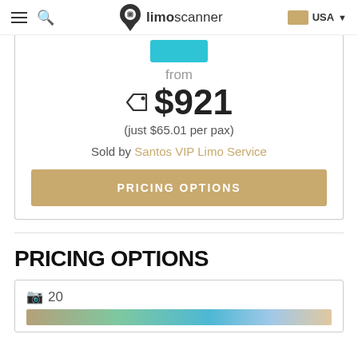limoscanner USA
from
$921
(just $65.01 per pax)
Sold by Santos VIP Limo Service
PRICING OPTIONS
PRICING OPTIONS
20